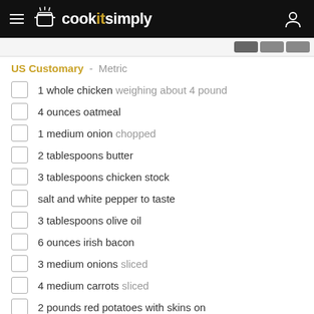cookitsimply
US Customary - Metric
1 whole chicken weighing about 4 pound
4 ounces oatmeal
1 medium onion chopped
2 tablespoons butter
3 tablespoons chicken stock
salt and white pepper to taste
3 tablespoons olive oil
6 ounces irish bacon
3 medium onions sliced
4 medium carrots sliced
2 pounds red potatoes with skins on
1/2 cup seasoned flour
[Figure (logo): cookitsimply pot logo at bottom]